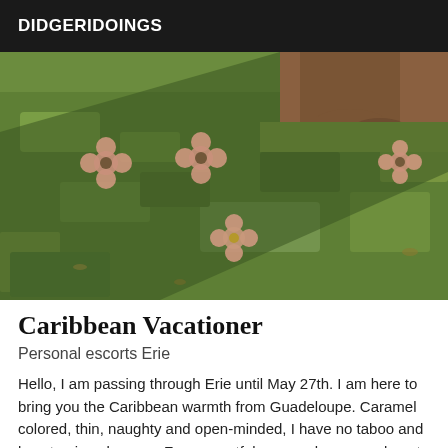DIDGERIDOINGS
[Figure (photo): Outdoor photo showing a person's lower body/feet on green grass with a diagonal shadow, with pink flower blur marks overlaid as censorship]
Caribbean Vacationer
Personal escorts Erie
Hello, I am passing through Erie until May 27th. I am here to bring you the Caribbean warmth from Guadeloupe. Caramel colored, thin, naughty and open-minded, I have no taboo and love to give pleasure. For respectful men and women, do not hesitate to contact